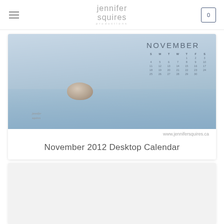jennifer squires productions | 0
[Figure (photo): Horizontal desktop calendar wallpaper showing a peaceful water scene with a rock, with a November 2012 calendar overlay in the top right. URL www.jennifersquires.ca shown below the image.]
November 2012 Desktop Calendar
[Figure (photo): Second card area with light grey background, partially visible.]